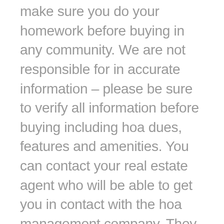make sure you do your homework before buying in any community. We are not responsible for in accurate information – please be sure to verify all information before buying including hoa dues, features and amenities. You can contact your real estate agent who will be able to get you in contact with the hoa management company. They can provide you with all the necessary information of the community including the documents and disclosures.
We are not connected with any HOA including Greenbrook Townhomes HOA, homeowners association management company or real agent. If you find anything in our listings that are not accurate or need updating please feel free to